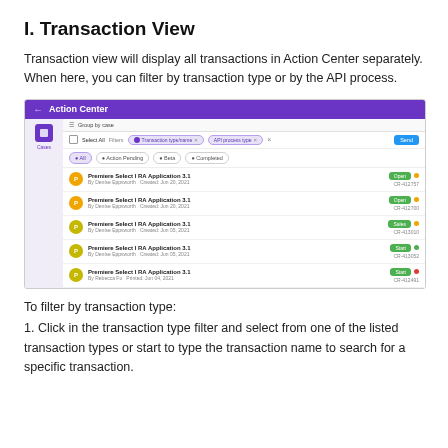I. Transaction View
Transaction view will display all transactions in Action Center separately. When here, you can filter by transaction type or by the API process.
[Figure (screenshot): Action Center interface screenshot showing a transaction list view with purple header bar, filter options, tabs (All, Action Pending, Beta, Completed), and five rows of 'Premiere Select I RA Application 3.1' transactions each with Open or Start status and yellow/green/red dots.]
To filter by transaction type:
1. Click in the transaction type filter and select from one of the listed transaction types or start to type the transaction name to search for a specific transaction.